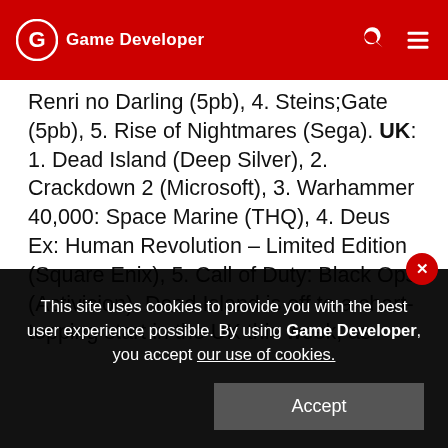Game Developer
Renri no Darling (5pb), 4. Steins;Gate (5pb), 5. Rise of Nightmares (Sega). UK: 1. Dead Island (Deep Silver), 2. Crackdown 2 (Microsoft), 3. Warhammer 40,000: Space Marine (THQ), 4. Deus Ex: Human Revolution – Limited Edition (Square Enix), 5. Call of Duty: Black Ops (Activision). Dead Island is off to a chart-topping start in the UK this week, as 5pb's recently released visual novel Dunamis15 beats last week's sales winner BioHazard Revival Selection in the Japanese rankings. PlayStation 3 North America: 1. Deus Ex: Human Revolution (Square Enix)
This site uses cookies to provide you with the best user experience possible. By using Game Developer, you accept our use of cookies.